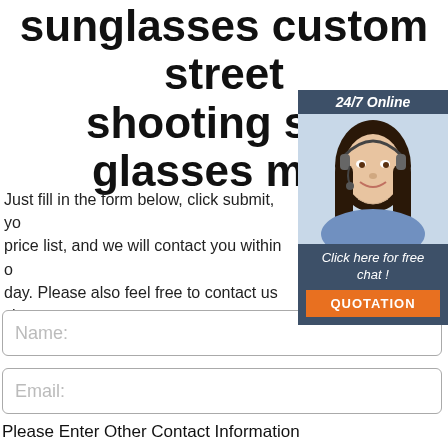sunglasses custom street shooting sun glasses men
[Figure (illustration): Customer service chat widget with 24/7 Online label, photo of smiling woman with headset, 'Click here for free chat!' text, and orange QUOTATION button]
Just fill in the form below, click submit, you get price list, and we will contact you within one day. Please also feel free to contact us via phone. (* is required).
Name:
Email:
Please Enter Other Contact Information
Whatsapp
Wechat
Skype
Viber